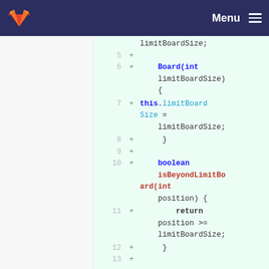Menu
[Figure (screenshot): GitLab code diff view showing Java code with line numbers 5-13. Lines show a Board class constructor and isBeyondLimitBoard method with added lines marked by '+' signs on a green background.]